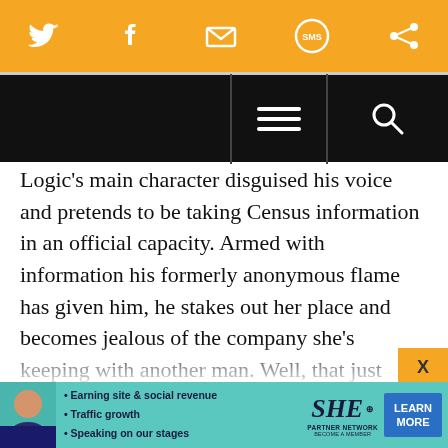[Figure (screenshot): Orange social sharing bar with Twitter, Facebook, email, SMS, and refresh icons]
[Figure (screenshot): Black navigation bar with hamburger menu and search icon]
Logic's main character disguised his voice and pretends to be taking Census information in an official capacity. Armed with information his formerly anonymous flame has given him, he stakes out her place and becomes jealous of the company she's keeping with another man. Well, that just won't do, will it? So he breaks into her place, armed this time with more than information — he's got a gun! Someone enters the place, our hapless narrator gets a shot off, and it turns o
[Figure (screenshot): SHE Partner Network advertisement banner at bottom with Learn More button]